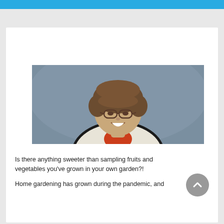[Figure (photo): Professional headshot of a woman with short brown hair, wearing glasses, a white jacket with black trim, and an orange top, smiling against a gray background.]
Is there anything sweeter than sampling fruits and vegetables you've grown in your own garden?!
Home gardening has grown during the pandemic, and